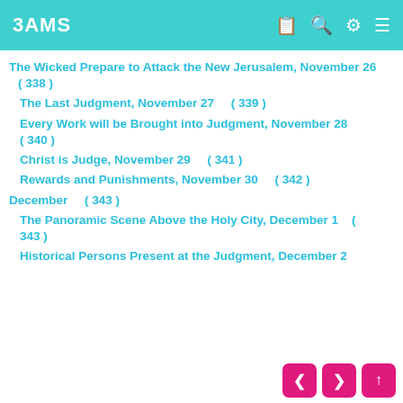3AMS
The Wicked Prepare to Attack the New Jerusalem, November 26  ( 338 )
The Last Judgment, November 27    ( 339 )
Every Work will be Brought into Judgment, November 28  ( 340 )
Christ is Judge, November 29    ( 341 )
Rewards and Punishments, November 30    ( 342 )
December    ( 343 )
The Panoramic Scene Above the Holy City, December 1    ( 343 )
Historical Persons Present at the Judgment, December 2